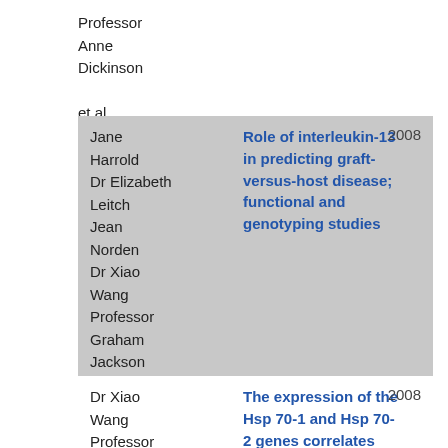Professor Anne Dickinson et al.
| Authors | Title | Year |
| --- | --- | --- |
| Jane Harrold Dr Elizabeth Leitch Jean Norden Dr Xiao Wang Professor Graham Jackson et al. | Role of interleukin-13 in predicting graft-versus-host disease; functional and genotyping studies | 2008 |
| Dr Xiao Wang Professor | The expression of the Hsp 70-1 and Hsp 70-2 genes correlates with the | 2008 |